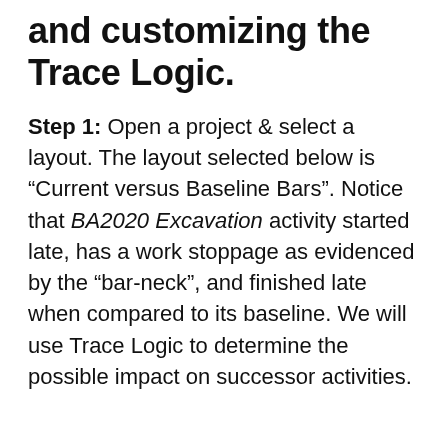and customizing the Trace Logic.
Step 1: Open a project & select a layout. The layout selected below is “Current versus Baseline Bars”. Notice that BA2020 Excavation activity started late, has a work stoppage as evidenced by the “bar-neck”, and finished late when compared to its baseline. We will use Trace Logic to determine the possible impact on successor activities.